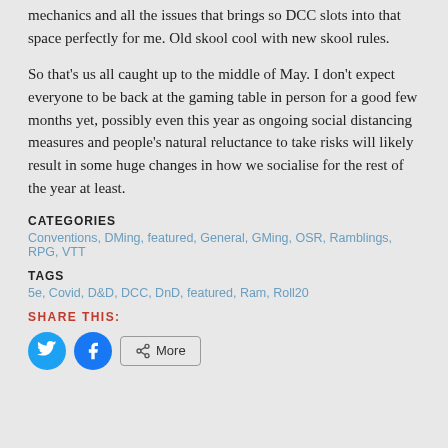mechanics and all the issues that brings so DCC slots into that space perfectly for me. Old skool cool with new skool rules.
So that's us all caught up to the middle of May. I don't expect everyone to be back at the gaming table in person for a good few months yet, possibly even this year as ongoing social distancing measures and people's natural reluctance to take risks will likely result in some huge changes in how we socialise for the rest of the year at least.
CATEGORIES
Conventions, DMing, featured, General, GMing, OSR, Ramblings, RPG, VTT
TAGS
5e, Covid, D&D, DCC, DnD, featured, Ram, Roll20
SHARE THIS:
[Figure (other): Share buttons: Twitter (blue circle), Facebook (blue circle), More (outlined button with share icon)]